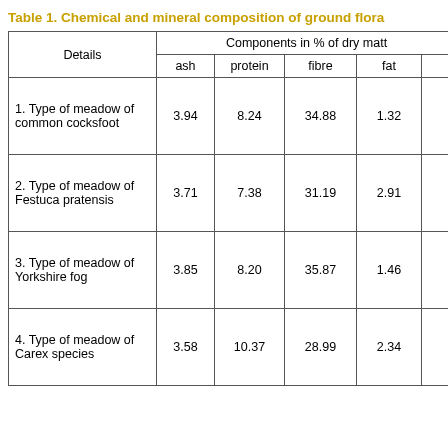Table 1. Chemical and mineral composition of ground flora
| Details | ash | protein | fibre | fat |
| --- | --- | --- | --- | --- |
| 1. Type of meadow of common cocksfoot | 3.94 | 8.24 | 34.88 | 1.32 |
| 2. Type of meadow of Festuca pratensis | 3.71 | 7.38 | 31.19 | 2.91 |
| 3. Type of meadow of Yorkshire fog | 3.85 | 8.20 | 35.87 | 1.46 |
| 4. Type of meadow of Carex species | 3.58 | 10.37 | 28.99 | 2.34 |